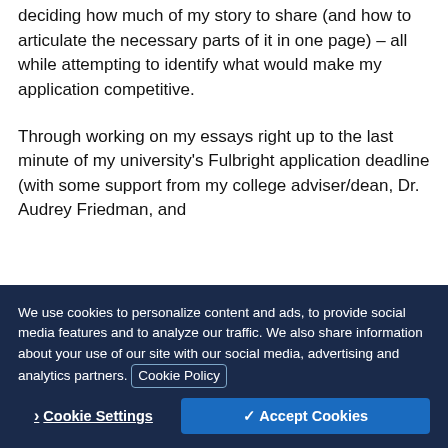deciding how much of my story to share (and how to articulate the necessary parts of it in one page) – all while attempting to identify what would make my application competitive.
Through working on my essays right up to the last minute of my university's Fulbright application deadline (with some support from my college adviser/dean, Dr. Audrey Friedman, and
We use cookies to personalize content and ads, to provide social media features and to analyze our traffic. We also share information about your use of our site with our social media, advertising and analytics partners. Cookie Policy